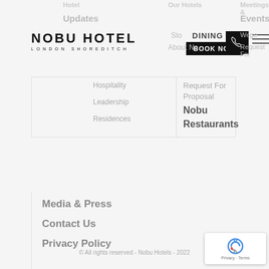[Figure (logo): Nobu Hotel London Shoreditch logo — bold sans-serif text]
Updates
Our Hotels
Meetings & Events
Dining
About Nobu
Hospitality
Leadership
Residences
Request For Proposal
Nobu Restaurants
Media & Press
Contact Us
Privacy Policy
Careers
© All rights reserved - Nobu Hotels - 2022